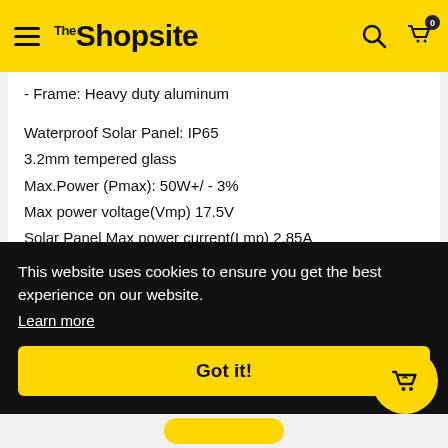The Shopsite
- Frame: Heavy duty aluminum
Waterproof Solar Panel: IP65
3.2mm tempered glass
Max.Power (Pmax): 50W+/ - 3%
Max power voltage(Vmp) 17.5V
Solar Panel Max power current(Lmp) 2.85A
Open circuit Solar Panel voltage(Voc) 21.6V
Sh...
M...
So...
St...
N...
Fo...
W...
This website uses cookies to ensure you get the best experience on our website.
Learn more
Got it!